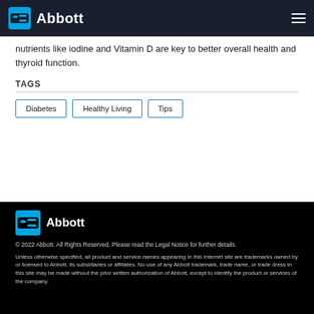Abbott
nutrients like iodine and Vitamin D are key to better overall health and thyroid function.
TAGS
Diabetes
Healthy Living
Tips
[Figure (logo): Abbott logo in footer on black background]
© 2022 Abbott. All Rights Reserved. Please read the Legal Notice for further details. Unless otherwise specified, all product and service names appearing in this Internet site are trademarks owned by or licensed to Abbott, its subsidiaries or affiliates. No use of any Abbott trademark, trade name, or trade dress in this site may be made without the prior written authorization of Abbott, except to identify the product or services of the company.